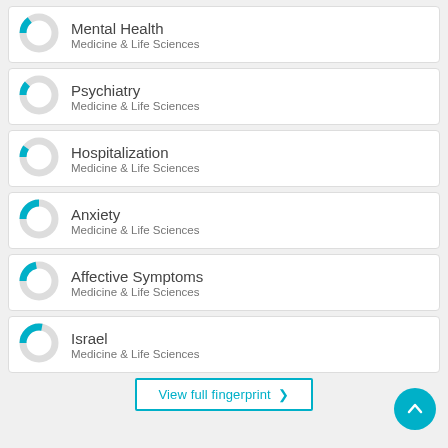[Figure (donut-chart): Donut chart showing small cyan segment (~15%) on grey ring for Mental Health, Medicine & Life Sciences]
Mental Health
Medicine & Life Sciences
[Figure (donut-chart): Donut chart showing small cyan segment (~12%) on grey ring for Psychiatry, Medicine & Life Sciences]
Psychiatry
Medicine & Life Sciences
[Figure (donut-chart): Donut chart showing small cyan segment (~10%) on grey ring for Hospitalization, Medicine & Life Sciences]
Hospitalization
Medicine & Life Sciences
[Figure (donut-chart): Donut chart showing medium cyan segment (~25%) on grey ring for Anxiety, Medicine & Life Sciences]
Anxiety
Medicine & Life Sciences
[Figure (donut-chart): Donut chart showing medium cyan segment (~22%) on grey ring for Affective Symptoms, Medicine & Life Sciences]
Affective Symptoms
Medicine & Life Sciences
[Figure (donut-chart): Donut chart showing medium cyan segment (~28%) on grey ring for Israel, Medicine & Life Sciences]
Israel
Medicine & Life Sciences
View full fingerprint >